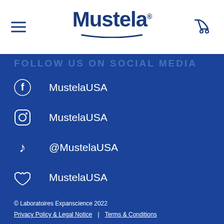[Figure (logo): Mustela brand logo with navy blue text and underline arc, hamburger menu icon on left, stroller icon on right]
Facebook: MustelaUSA
Instagram: MustelaUSA
TikTok: @MustelaUSA
Twitter: MustelaUSA
Pinterest: MustelaUSA
YouTube: MustelaUSA
© Laboratoires Expanscience 2022
Privacy Policy & Legal Notice | Terms & Conditions